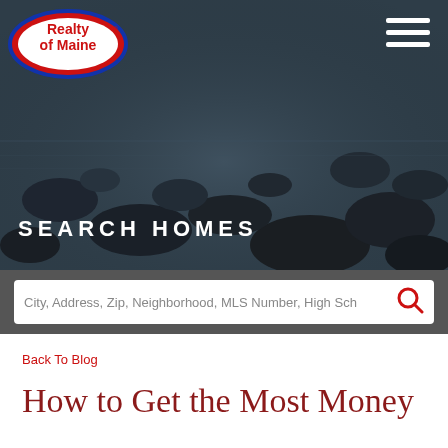[Figure (logo): Realty of Maine logo — red oval with white text reading 'Realty of Maine' with registered trademark symbol]
[Figure (photo): Dark moody photo of rocky shoreline with smooth stones partially submerged in misty water, dark blue-grey tones]
SEARCH HOMES
City, Address, Zip, Neighborhood, MLS Number, High Sch
Back To Blog
How to Get the Most Money